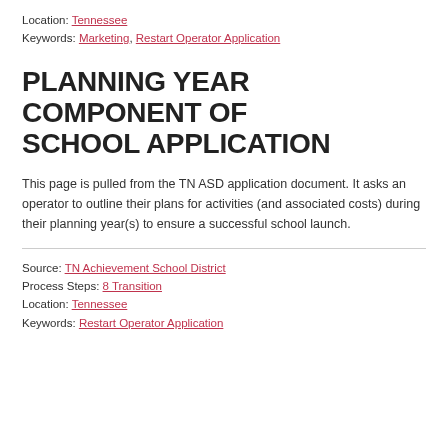Location: Tennessee
Keywords: Marketing, Restart Operator Application
PLANNING YEAR COMPONENT OF SCHOOL APPLICATION
This page is pulled from the TN ASD application document. It asks an operator to outline their plans for activities (and associated costs) during their planning year(s) to ensure a successful school launch.
Source: TN Achievement School District
Process Steps: 8 Transition
Location: Tennessee
Keywords: Restart Operator Application